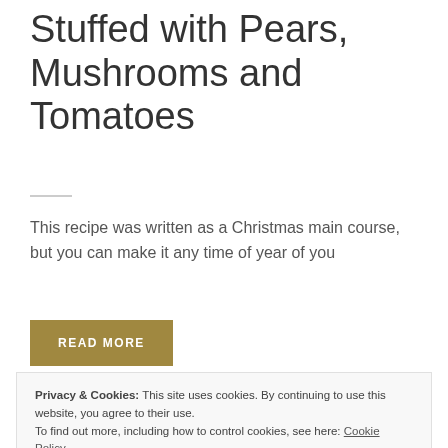Stuffed with Pears, Mushrooms and Tomatoes
This recipe was written as a Christmas main course, but you can make it any time of year of you
READ MORE
Privacy & Cookies: This site uses cookies. By continuing to use this website, you agree to their use.
To find out more, including how to control cookies, see here: Cookie Policy
Close and accept